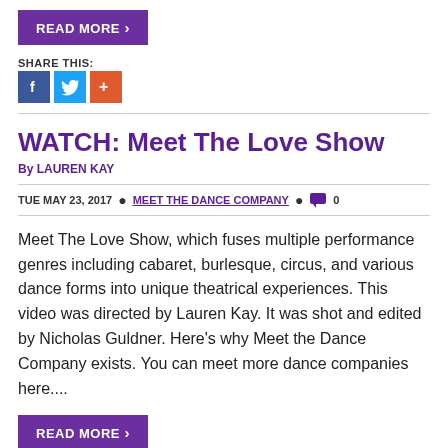READ MORE ›
SHARE THIS:
[Figure (other): Social share icons: Facebook (blue), Twitter (light blue), Google+ (orange-red)]
WATCH: Meet The Love Show
By LAUREN KAY
TUE MAY 23, 2017 • MEET THE DANCE COMPANY • 0
Meet The Love Show, which fuses multiple performance genres including cabaret, burlesque, circus, and various dance forms into unique theatrical experiences. This video was directed by Lauren Kay. It was shot and edited by Nicholas Guldner. Here's why Meet the Dance Company exists. You can meet more dance companies here....
READ MORE ›